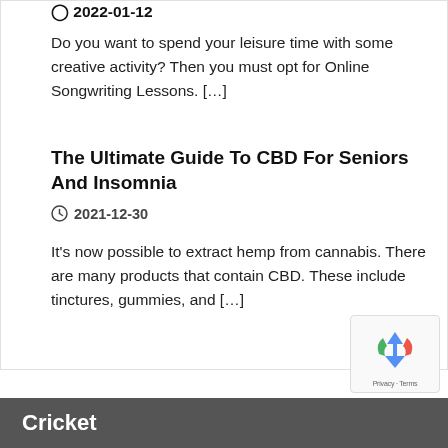2022-01-12
Do you want to spend your leisure time with some creative activity? Then you must opt for Online Songwriting Lessons. […]
The Ultimate Guide To CBD For Seniors And Insomnia
2021-12-30
It's now possible to extract hemp from cannabis. There are many products that contain CBD. These include tinctures, gummies, and […]
Cricket